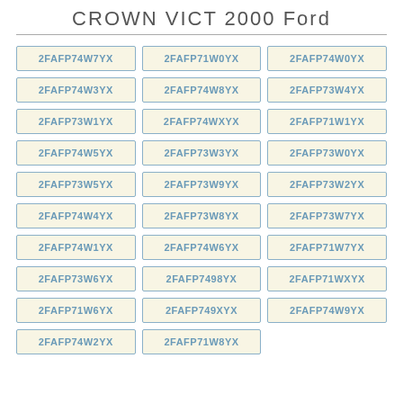CROWN VICT 2000 Ford
2FAFP74W7YX
2FAFP71W0YX
2FAFP74W0YX
2FAFP74W3YX
2FAFP74W8YX
2FAFP73W4YX
2FAFP73W1YX
2FAFP74WXYX
2FAFP71W1YX
2FAFP74W5YX
2FAFP73W3YX
2FAFP73W0YX
2FAFP73W5YX
2FAFP73W9YX
2FAFP73W2YX
2FAFP74W4YX
2FAFP73W8YX
2FAFP73W7YX
2FAFP74W1YX
2FAFP74W6YX
2FAFP71W7YX
2FAFP73W6YX
2FAFP7498YX
2FAFP71WXYX
2FAFP71W6YX
2FAFP749XYX
2FAFP74W9YX
2FAFP74W2YX
2FAFP71W8YX